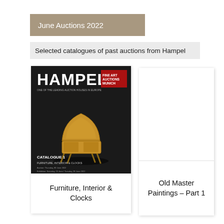June Auctions 2022
Selected catalogues of past auctions from Hampel
[Figure (illustration): Hampel Fine Art Auctions Munich catalogue cover showing an ornate antique bureau/secretary desk on a dark background. Text reads CATALOGUE 1, FURNITURE, INTERIOR & CLOCKS]
Furniture, Interior & Clocks
[Figure (illustration): Blank white catalogue card placeholder for Old Master Paintings Part 1]
Old Master Paintings – Part 1